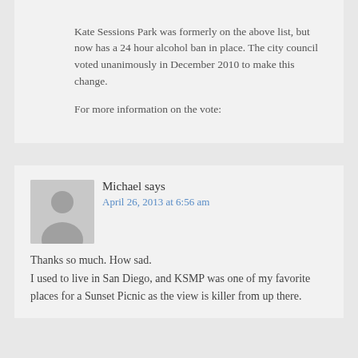Kate Sessions Park was formerly on the above list, but now has a 24 hour alcohol ban in place. The city council voted unanimously in December 2010 to make this change.

For more information on the vote:
Michael says
April 26, 2013 at 6:56 am
Thanks so much. How sad.
I used to live in San Diego, and KSMP was one of my favorite places for a Sunset Picnic as the view is killer from up there.